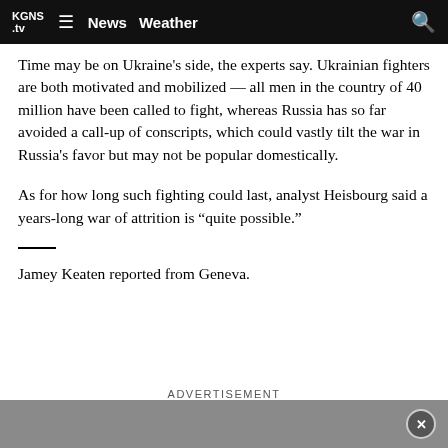KGNS.tv  ≡  News  Weather  🔍
Time may be on Ukraine's side, the experts say. Ukrainian fighters are both motivated and mobilized — all men in the country of 40 million have been called to fight, whereas Russia has so far avoided a call-up of conscripts, which could vastly tilt the war in Russia's favor but may not be popular domestically.
As for how long such fighting could last, analyst Heisbourg said a years-long war of attrition is "quite possible."
Jamey Keaten reported from Geneva.
ADVERTISEMENT